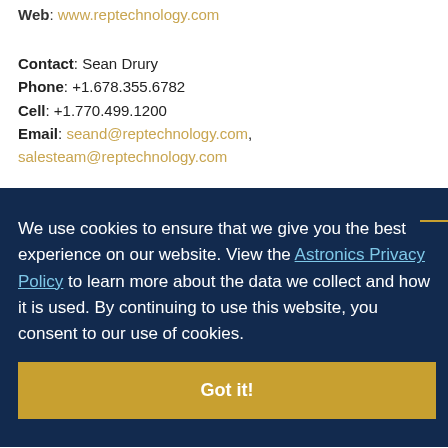Web: www.reptechnology.com
Contact: Sean Drury
Phone: +1.678.355.6782
Cell: +1.770.499.1200
Email: seand@reptechnology.com, salesteam@reptechnology.com
We use cookies to ensure that we give you the best experience on our website. View the Astronics Privacy Policy to learn more about the data we collect and how it is used. By continuing to use this website, you consent to our use of cookies.
Got it!